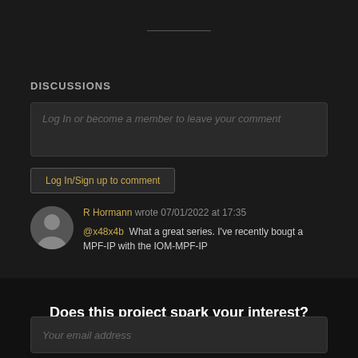DISCUSSIONS
Log In or become a member to leave your comment
Log In/Sign up to comment
R Hormann wrote 07/01/2022 at 17:35
@x48x4b  What a great series. I've recently bougt a MPF-IP with the IOM-MPF-IP
Does this project spark your interest?
Become a member to follow this project and never miss any updates
Your email address